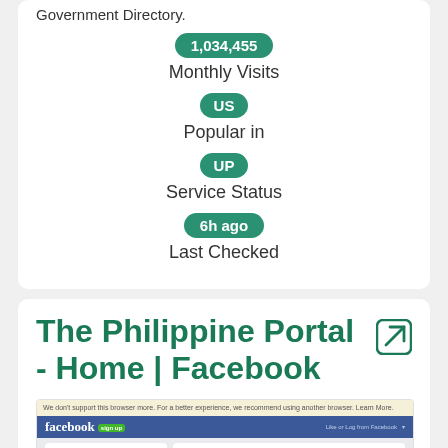Government Directory.
1,034,455
Monthly Visits
US
Popular in
UP
Service Status
6h ago
Last Checked
The Philippine Portal - Home | Facebook
[Figure (screenshot): Screenshot of The Philippine Portal Facebook page showing Facebook navigation bar, a security check form with checkbox and CAPTCHA, and a login panel on the right.]